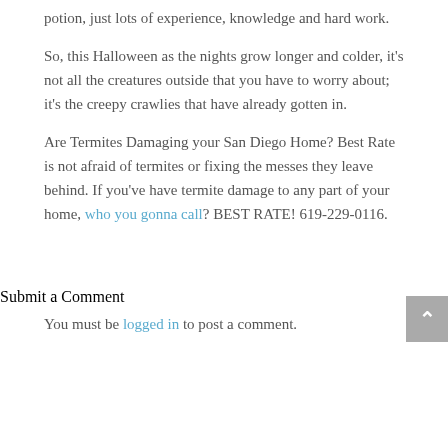potion, just lots of experience, knowledge and hard work.
So, this Halloween as the nights grow longer and colder, it’s not all the creatures outside that you have to worry about; it’s the creepy crawlies that have already gotten in.
Are Termites Damaging your San Diego Home? Best Rate is not afraid of termites or fixing the messes they leave behind. If you’ve have termite damage to any part of your home, who you gonna call? BEST RATE! 619-229-0116.
Submit a Comment
You must be logged in to post a comment.